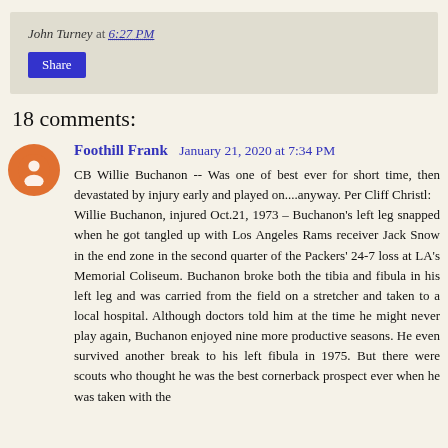John Turney at 6:27 PM
Share
18 comments:
Foothill Frank  January 21, 2020 at 7:34 PM
CB Willie Buchanon -- Was one of best ever for short time, then devastated by injury early and played on....anyway. Per Cliff Christl:
Willie Buchanon, injured Oct.21, 1973 – Buchanon's left leg snapped when he got tangled up with Los Angeles Rams receiver Jack Snow in the end zone in the second quarter of the Packers' 24-7 loss at LA's Memorial Coliseum. Buchanon broke both the tibia and fibula in his left leg and was carried from the field on a stretcher and taken to a local hospital. Although doctors told him at the time he might never play again, Buchanon enjoyed nine more productive seasons. He even survived another break to his left fibula in 1975. But there were scouts who thought he was the best cornerback prospect ever when he was taken with the